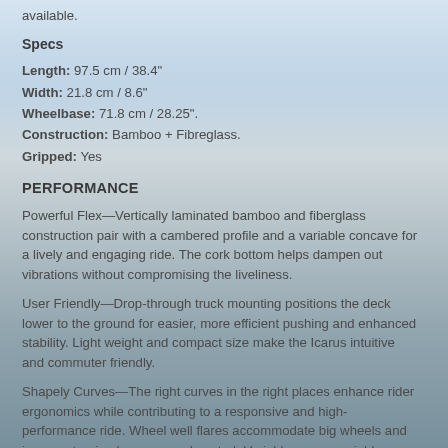available.
Specs
Length: 97.5 cm / 38.4"
Width: 21.8 cm / 8.6"
Wheelbase: 71.8 cm / 28.25".
Construction: Bamboo + Fibreglass.
Gripped: Yes
PERFORMANCE
Powerful Flex—Vertically laminated bamboo and fiberglass construction pair with a cambered profile and a variable concave for a lively and engaging ride. The cork bottom helps dampen out vibrations without compromising the liveliness.
User Friendly—Drop-through truck mounting positions the deck lower to the ground for easier, more efficient pushing and enhanced stability. Light weight and compact size make the Icarus intuitive and commuter friendly.
Shapely Curves—The right curves in the right places enhance rider ergonomics while contributing to a responsive and high-performance ride. Wheel well flares accommodate big wheels and improve turning leverage and control. Variable concave yields a